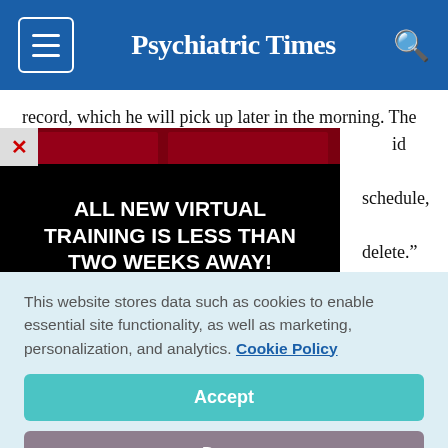Psychiatric Times
record, which he will pick up later in the morning. The id not work “fast schedule, he finds delete.”
[Figure (screenshot): Advertisement banner: ALL NEW VIRTUAL TRAINING IS LESS THAN TWO WEEKS AWAY! Join your colleagues!]
This website stores data such as cookies to enable essential site functionality, as well as marketing, personalization, and analytics. Cookie Policy
Accept
Deny